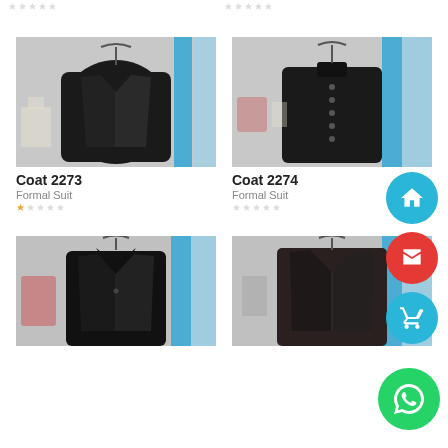[Figure (photo): Top-left product card stars (partial, cut off at top)]
[Figure (photo): Top-right product card stars (partial, cut off at top)]
[Figure (photo): Black formal suit jacket (Coat 2273) hanging in a store]
Coat 2273
Formal Suit
[Figure (photo): Black formal suit jacket (Coat 2274) hanging in a store]
Coat 2274
Formal Suit
[Figure (photo): Black blazer jacket (bottom-left product) hanging in a store]
[Figure (photo): Black coat/jacket (bottom-right product) hanging in a store]